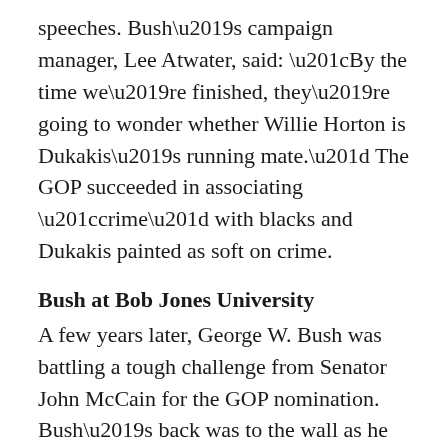speeches. Bush’s campaign manager, Lee Atwater, said: “By the time we’re finished, they’re going to wonder whether Willie Horton is Dukakis’s running mate.” The GOP succeeded in associating “crime” with blacks and Dukakis painted as soft on crime.
Bush at Bob Jones University
A few years later, George W. Bush was battling a tough challenge from Senator John McCain for the GOP nomination. Bush’s back was to the wall as he went into the South Carolina primary and his campaign decided to go negative. He made a campaign stop at Christian-fundamentalist Bob Jones University, which still banned interracial dating. According to Richard Gooding, writing in Vanity Fair, veteran political reporter Curtis